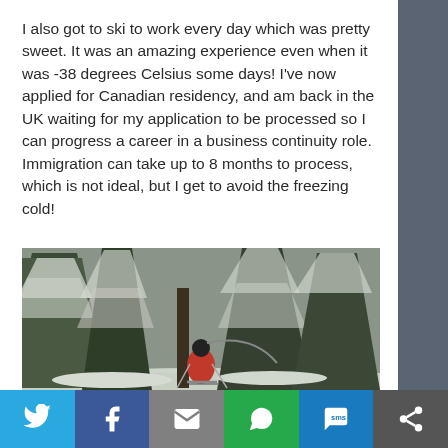I also got to ski to work every day which was pretty sweet. It was an amazing experience even when it was -38 degrees Celsius some days! I've now applied for Canadian residency, and am back in the UK waiting for my application to be processed so I can progress a career in a business continuity role. Immigration can take up to 8 months to process, which is not ideal, but I get to avoid the freezing cold!
[Figure (photo): A person in a red jacket and black helmet skiing through a snow-covered forest with tall conifer trees laden with snow.]